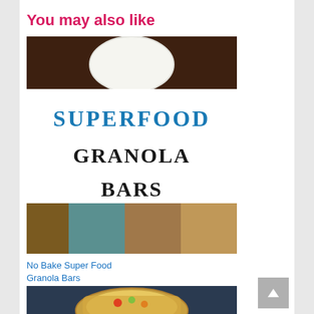You may also like
[Figure (photo): Composite image: top portion shows a white plate on dark wood background; middle shows text 'Superfood Granola Bars' in stylized typography (blue and black serif); bottom portion shows granola bar food image]
No Bake Super Food Granola Bars
[Figure (photo): Composite image: top portion shows a bowl of quinoa salad; middle shows text 'Healthy Quinoa Salad' in stylized typography (red, green, orange serif); bottom portion shows a bowl with avocado and salad]
Healthy Quinoa Salad (Vegan and Gluten Free)